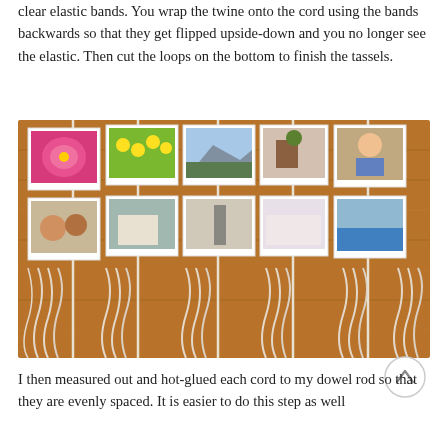clear elastic bands. You wrap the twine onto the cord using the bands backwards so that they get flipped upside-down and you no longer see the elastic. Then cut the loops on the bottom to finish the tassels.
[Figure (photo): Overhead view of multiple white cords/tassels looped and laid out on a wooden surface, with various polaroid-style photos pinned or clipped along vertical cords showing flowers, landscapes, people, and other scenes.]
I then measured out and hot-glued each cord to my dowel rod so that they are evenly spaced. It is easier to do this step as well